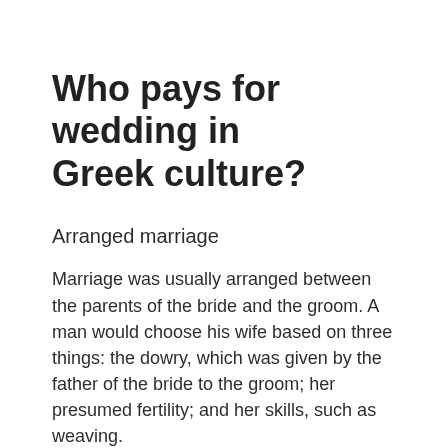Who pays for wedding in Greek culture?
Arranged marriage
Marriage was usually arranged between the parents of the bride and the groom. A man would choose his wife based on three things: the dowry, which was given by the father of the bride to the groom; her presumed fertility; and her skills, such as weaving.
What does the groom wear in a Greek wedding?